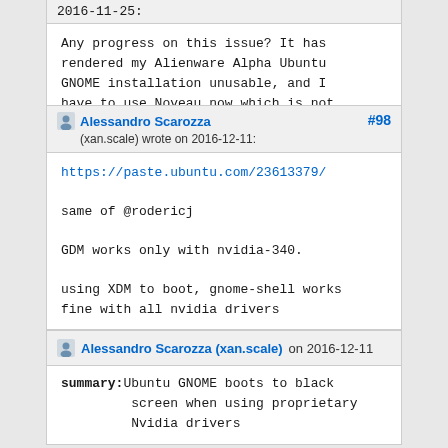2016-11-25:
Any progress on this issue? It has rendered my Alienware Alpha Ubuntu GNOME installation unusable, and I have to use Noveau now which is not acceptable for OpenCL apps. Any help?
Alessandro Scarozza (xan.scale) wrote on 2016-12-11: #98
https://paste.ubuntu.com/23613379/

same of @rodericj

GDM works only with nvidia-340.

using XDM to boot, gnome-shell works fine with all nvidia drivers
Alessandro Scarozza (xan.scale) on 2016-12-11
summary:Ubuntu GNOME boots to black screen when using proprietary Nvidia drivers